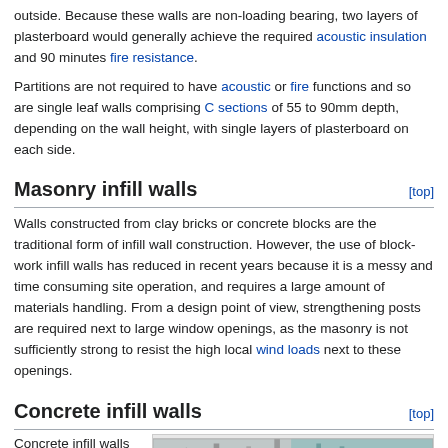outside. Because these walls are non-loading bearing, two layers of plasterboard would generally achieve the required acoustic insulation and 90 minutes fire resistance.
Partitions are not required to have acoustic or fire functions and so are single leaf walls comprising C sections of 55 to 90mm depth, depending on the wall height, with single layers of plasterboard on each side.
Masonry infill walls
Walls constructed from clay bricks or concrete blocks are the traditional form of infill wall construction. However, the use of block-work infill walls has reduced in recent years because it is a messy and time consuming site operation, and requires a large amount of materials handling. From a design point of view, strengthening posts are required next to large window openings, as the masonry is not sufficiently strong to resist the high local wind loads next to these openings.
Concrete infill walls
Concrete infill walls are generally in the form of large
[Figure (photo): Photograph of concrete infill wall construction showing steel framing and construction materials at a building site]